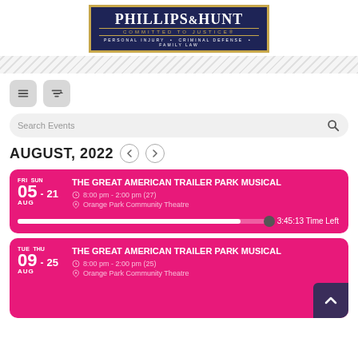[Figure (logo): Phillips & Hunt law firm logo — navy blue box with gold border, white serif text 'PHILLIPS & HUNT', gold text 'COMMITTED TO JUSTICE', white tagline 'PERSONAL INJURY · CRIMINAL DEFENSE · FAMILY LAW']
[Figure (other): Diagonal grey stripe divider bar]
[Figure (screenshot): Two icon buttons: hamburger menu and sort/filter icon]
Search Events
AUGUST, 2022
THE GREAT AMERICAN TRAILER PARK MUSICAL
8:00 pm - 2:00 pm (27)
Orange Park Community Theatre
FRI 05 - SUN 21 AUG
3:45:13 Time Left
THE GREAT AMERICAN TRAILER PARK MUSICAL
8:00 pm - 2:00 pm (25)
Orange Park Community Theatre
TUE 09 - THU 25 AUG